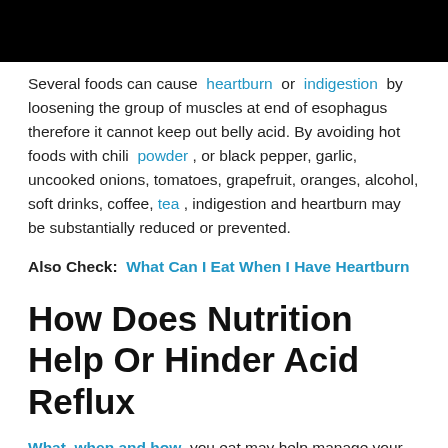[Figure (photo): Black bar image at top of page]
Several foods can cause heartburn or indigestion by loosening the group of muscles at end of esophagus therefore it cannot keep out belly acid. By avoiding hot foods with chili powder , or black pepper, garlic, uncooked onions, tomatoes, grapefruit, oranges, alcohol, soft drinks, coffee, tea , indigestion and heartburn may be substantially reduced or prevented.
Also Check: What Can I Eat When I Have Heartburn
How Does Nutrition Help Or Hinder Acid Reflux
What, when and how you eat may help manage your